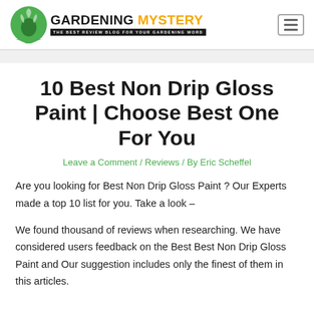GARDENING MYSTERY — THE BEST REVIEW BLOG FOR YOUR GARDENING WORD
10 Best Non Drip Gloss Paint | Choose Best One For You
Leave a Comment / Reviews / By Eric Scheffel
Are you looking for Best Non Drip Gloss Paint ? Our Experts made a top 10 list for you. Take a look –
We found thousand of reviews when researching. We have considered users feedback on the Best Best Non Drip Gloss Paint and Our suggestion includes only the finest of them in this articles.